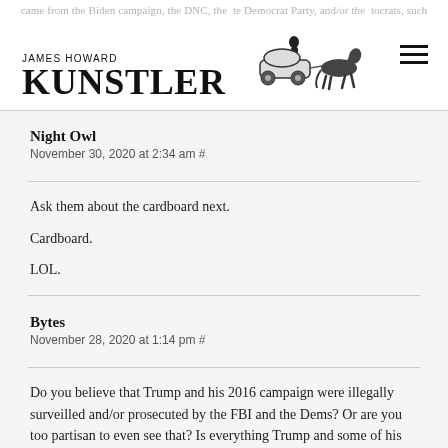James Howard Kunstler
Night Owl
November 30, 2020 at 2:34 am #
Ask them about the cardboard next.

Cardboard.

LOL.
Bytes
November 28, 2020 at 1:14 pm #
Do you believe that Trump and his 2016 campaign were illegally surveilled and/or prosecuted by the FBI and the Dems? Or are you too partisan to even see that? Is everything Trump and some of his followers are alleging not true.